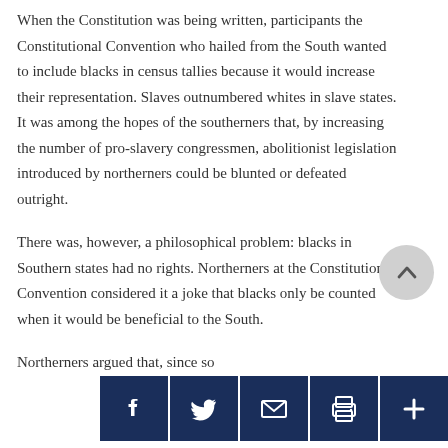When the Constitution was being written, participants the Constitutional Convention who hailed from the South wanted to include blacks in census tallies because it would increase their representation. Slaves outnumbered whites in slave states. It was among the hopes of the southerners that, by increasing the number of pro-slavery congressmen, abolitionist legislation introduced by northerners could be blunted or defeated outright.
There was, however, a philosophical problem: blacks in Southern states had no rights. Northerners at the Constitutional Convention considered it a joke that blacks only be counted when it would be beneficial to the South.
Northerners argued that, since so...